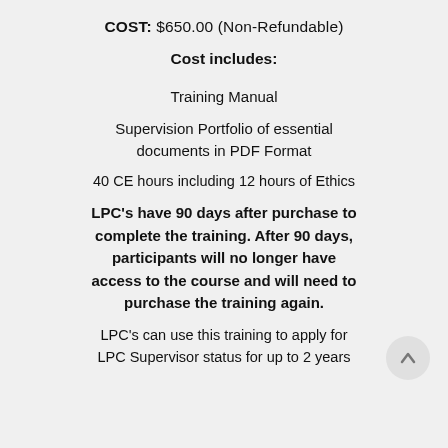COST: $650.00 (Non-Refundable)
Cost includes:
Training Manual
Supervision Portfolio of essential documents in PDF Format
40 CE hours including 12 hours of Ethics
LPC's have 90 days after purchase to complete the training. After 90 days, participants will no longer have access to the course and will need to purchase the training again.
LPC's can use this training to apply for LPC Supervisor status for up to 2 years